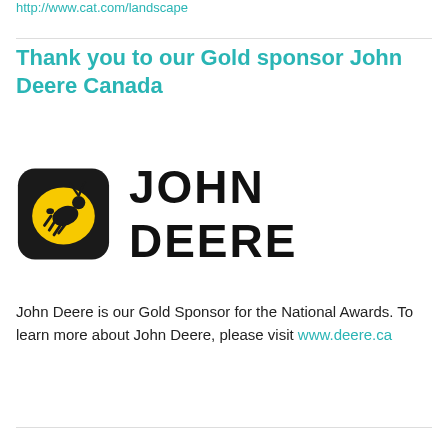http://www.cat.com/landscape
Thank you to our Gold sponsor John Deere Canada
[Figure (logo): John Deere logo: yellow leaping deer on black rounded square background, with 'JOHN DEERE' text in bold black sans-serif capital letters]
John Deere is our Gold Sponsor for the National Awards. To learn more about John Deere, please visit www.deere.ca